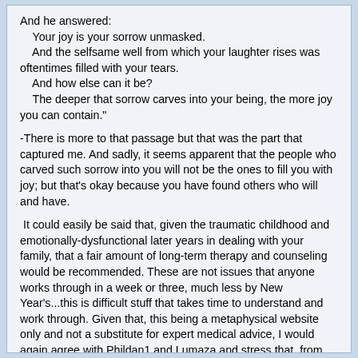And he answered:
    Your joy is your sorrow unmasked.
    And the selfsame well from which your laughter rises was oftentimes filled with your tears.
    And how else can it be?
    The deeper that sorrow carves into your being, the more joy you can contain."
-There is more to that passage but that was the part that captured me. And sadly, it seems apparent that the people who carved such sorrow into you will not be the ones to fill you with joy; but that's okay because you have found others who will and have.
It could easily be said that, given the traumatic childhood and emotionally-dysfunctional later years in dealing with your family, that a fair amount of long-term therapy and counseling would be recommended. These are not issues that anyone works through in a week or three, much less by New Year's...this is difficult stuff that takes time to understand and work through. Given that, this being a metaphysical website only and not a substitute for expert medical advice, I would again agree with Phildan1 and Lumaza and stress that, from such a long and difficult life experience, you are likely carrying a load of negativity and emotional baggage.